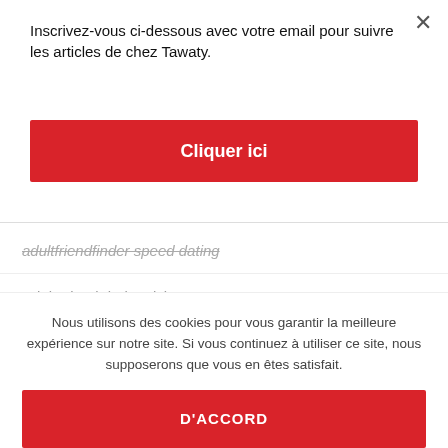Inscrivez-vous ci-dessous avec votre email pour suivre les articles de chez Tawaty.
Cliquer ici
adultfriendfinder speed dating
AdultFriendFinder visitors
AdultSpace dating site
AdultSpace review
AdultSpace reviews
Nous utilisons des cookies pour vous garantir la meilleure expérience sur notre site. Si vous continuez à utiliser ce site, nous supposerons que vous en êtes satisfait.
D'ACCORD